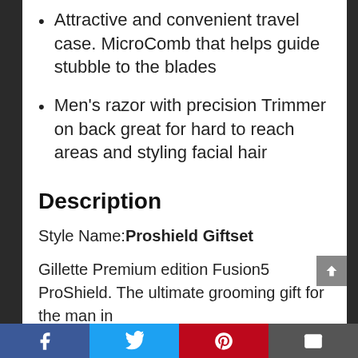Attractive and convenient travel case. MicroComb that helps guide stubble to the blades
Men's razor with precision Trimmer on back great for hard to reach areas and styling facial hair
Description
Style Name: Proshield Giftset
Gillette Premium edition Fusion5 ProShield. The ultimate grooming gift for the man in